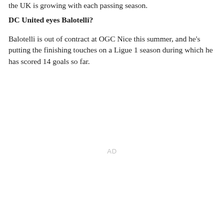the UK is growing with each passing season.
DC United eyes Balotelli?
Balotelli is out of contract at OGC Nice this summer, and he's putting the finishing touches on a Ligue 1 season during which he has scored 14 goals so far.
AD